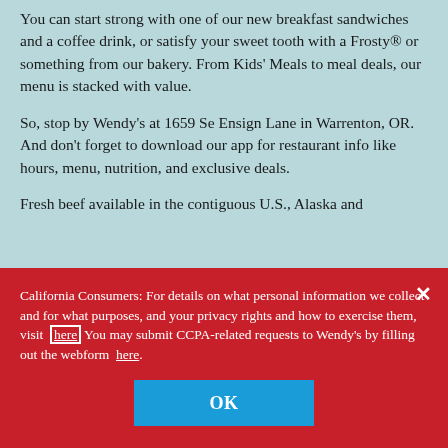You can start strong with one of our new breakfast sandwiches and a coffee drink, or satisfy your sweet tooth with a Frosty® or something from our bakery. From Kids' Meals to meal deals, our menu is stacked with value.
So, stop by Wendy's at 1659 Se Ensign Lane in Warrenton, OR. And don't forget to download our app for restaurant info like hours, menu, nutrition, and exclusive deals.
Fresh beef available in the contiguous U.S., Alaska and
California Consumers: For details on what personal information we collect and for what purposes, and your privacy rights and how to exercise them, visit here You may submit CCPA-related requests to Wendy's by filling out the webform here.